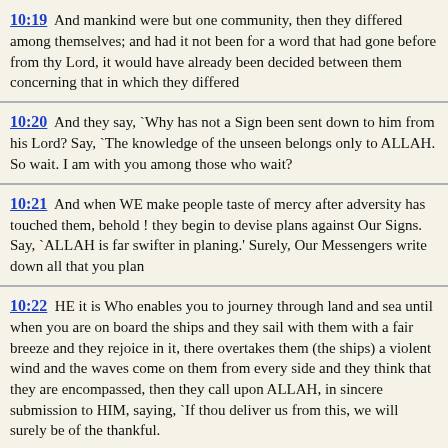10:19  And mankind were but one community, then they differed among themselves; and had it not been for a word that had gone before from thy Lord, it would have already been decided between them concerning that in which they differed
10:20  And they say, `Why has not a Sign been sent down to him from his Lord? Say, `The knowledge of the unseen belongs only to ALLAH. So wait. I am with you among those who wait?
10:21  And when WE make people taste of mercy after adversity has touched them, behold ! they begin to devise plans against Our Signs. Say, `ALLAH is far swifter in planing.' Surely, Our Messengers write down all that you plan
10:22  HE it is Who enables you to journey through land and sea until when you are on board the ships and they sail with them with a fair breeze and they rejoice in it, there overtakes them (the ships) a violent wind and the waves come on them from every side and they think that they are encompassed, then they call upon ALLAH, in sincere submission to HIM, saying, `If thou deliver us from this, we will surely be of the thankful.
10:23  But when HE delivered them, lo ! they begin to commit excesses in the earth wrongfully. O ye people, your excesses in seeking the enjoyment of the present life are only against your own selves. Then to US shall be your return; and WE will inform